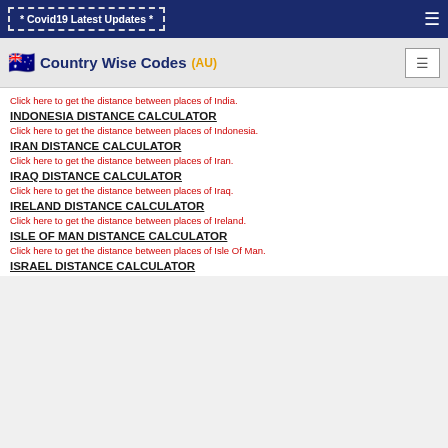* Covid19 Latest Updates *
Country Wise Codes (AU)
Click here to get the distance between places of India.
INDONESIA DISTANCE CALCULATOR
Click here to get the distance between places of Indonesia.
IRAN DISTANCE CALCULATOR
Click here to get the distance between places of Iran.
IRAQ DISTANCE CALCULATOR
Click here to get the distance between places of Iraq.
IRELAND DISTANCE CALCULATOR
Click here to get the distance between places of Ireland.
ISLE OF MAN DISTANCE CALCULATOR
Click here to get the distance between places of Isle Of Man.
ISRAEL DISTANCE CALCULATOR